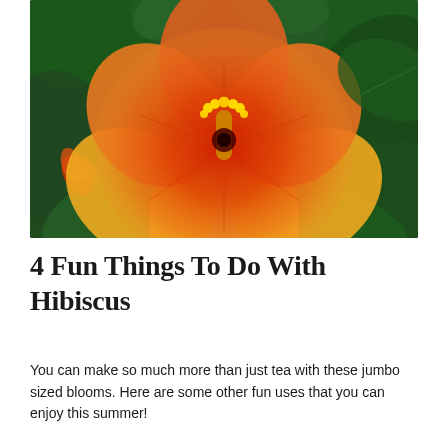[Figure (photo): Close-up photograph of a large hibiscus flower with orange-red and yellow petals and dark green leaves in the background.]
4 Fun Things To Do With Hibiscus
You can make so much more than just tea with these jumbo sized blooms. Here are some other fun uses that you can enjoy this summer!